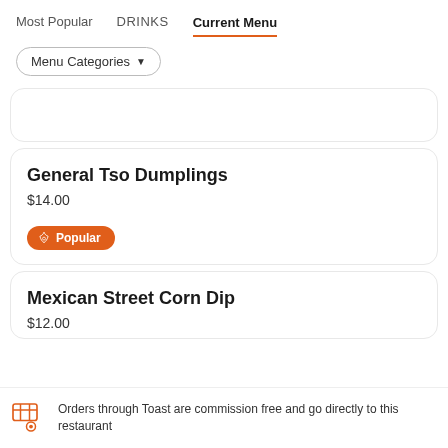Most Popular   DRINKS   Current Menu
Menu Categories ▼
General Tso Dumplings
$14.00
Popular
Mexican Street Corn Dip
Orders through Toast are commission free and go directly to this restaurant